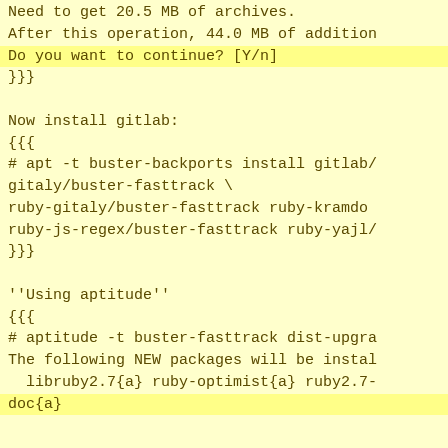Need to get 20.5 MB of archives.
After this operation, 44.0 MB of addition
Do you want to continue? [Y/n]
}}}

Now install gitlab:
{{{
# apt -t buster-backports install gitlab/
gitaly/buster-fasttrack \
ruby-gitaly/buster-fasttrack ruby-kramdo
ruby-js-regex/buster-fasttrack ruby-yajl
}}}

''Using aptitude''
{{{
# aptitude -t buster-fasttrack dist-upgra
The following NEW packages will be insta
  libruby2.7{a} ruby-optimist{a} ruby2.7
doc{a}